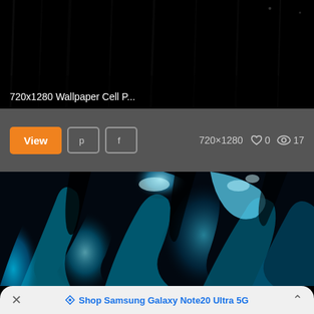[Figure (photo): Dark/black background wallpaper image with faint streaks, representing a phone wallpaper preview]
720x1280 Wallpaper Cell P...
View  [Pinterest icon]  [Facebook icon]  720×1280  ♡ 0  👁 17
[Figure (photo): Blue flame smoke art on black background — abstract wallpaper with cyan/blue glowing flame shapes]
× ♡ Shop Samsung Galaxy Note20 Ultra 5G ^